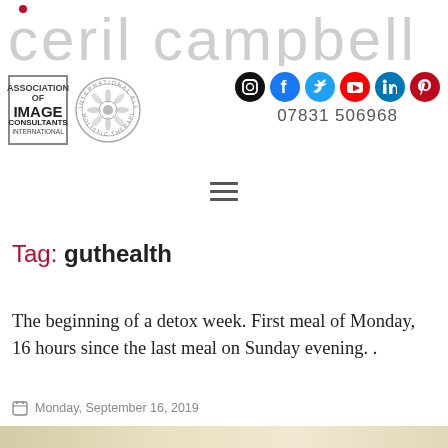[Figure (logo): Ceril Campbell brand logo in light grey script font with red accent dot]
[Figure (logo): AICI Association of Image Consultants International badge (square border) and International Alliance of Holistic Therapists circular badge]
[Figure (infographic): Social media icons row: Instagram, Facebook, Twitter, YouTube, LinkedIn, Pinterest — all in colored circles]
07831 506968
[Figure (other): Hamburger menu icon (three horizontal lines)]
Tag: guthealth
The beginning of a detox week. First meal of Monday, 16 hours since the last meal on Sunday evening. .
Monday, September 16, 2019
[Figure (photo): Partial image of food/drinks at bottom of page]